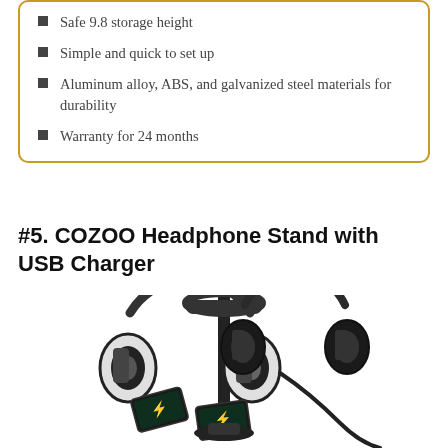Safe 9.8 storage height
Simple and quick to set up
Aluminum alloy, ABS, and galvanized steel materials for durability
Warranty for 24 months
#5. COZOO Headphone Stand with USB Charger
[Figure (photo): Photo of COZOO Headphone Stand with USB Charger, showing a black headphone stand holding two pairs of headphones (one black and white, one black) with two smartphones charging at the base]